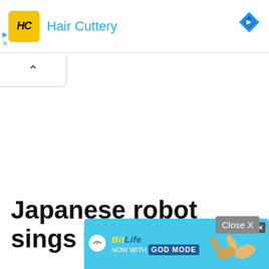[Figure (screenshot): Hair Cuttery advertisement banner with yellow logo, brand name in blue, and blue diamond icon on the right]
[Figure (screenshot): Collapse/chevron button below the ad banner]
Japanese robot sings to the pian
[Figure (screenshot): Close X button overlay in grey]
[Figure (screenshot): BitLife mobile app advertisement banner with GOD MODE promotion, hand graphic, and close buttons]